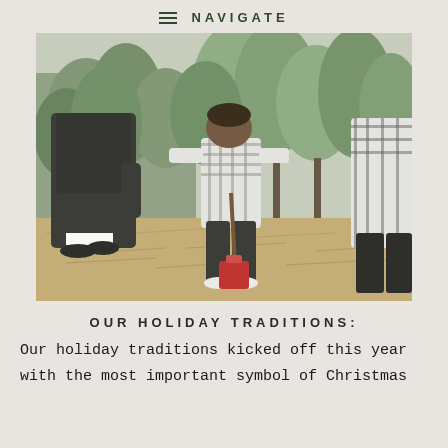NAVIGATE
[Figure (photo): Family at a Christmas tree farm. A child in a plaid shirt stands among pine trees holding a stick with a red bag at their feet. An adult in a dark jacket leans toward the child. Another adult in a plaid shirt is visible at the right edge. The ground is covered in dry straw/hay.]
OUR HOLIDAY TRADITIONS:
Our holiday traditions kicked off this year with the most important symbol of Christmas